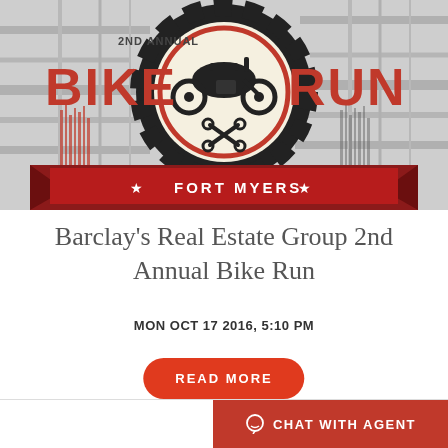[Figure (illustration): 2nd Annual Bike Run Fort Myers event banner with motorcycle graphic, gear imagery, and red/black color scheme with stars]
Barclay's Real Estate Group 2nd Annual Bike Run
MON OCT 17 2016, 5:10 PM
READ MORE
CHAT WITH AGENT